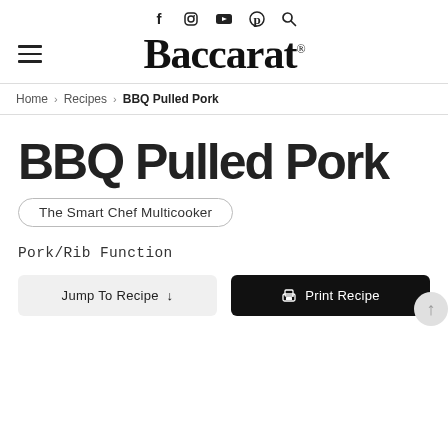Social icons: Facebook, Instagram, YouTube, Pinterest, Search | Baccarat logo with hamburger menu
Home > Recipes > BBQ Pulled Pork
BBQ Pulled Pork
The Smart Chef Multicooker
Pork/Rib Function
Jump To Recipe ↓
Print Recipe